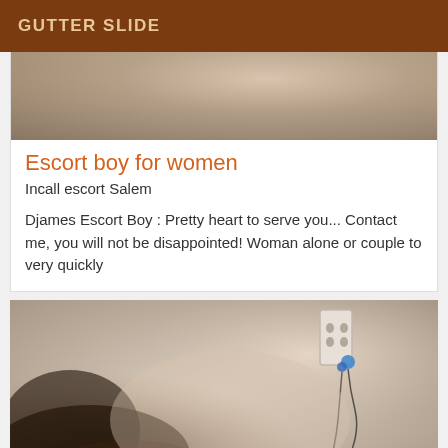GUTTER SLIDE
[Figure (photo): Close-up blurred photo of a person's body/shoulder area with dark background tones]
Escort boy for women
Incall escort Salem
Djames Escort Boy : Pretty heart to serve you... Contact me, you will not be disappointed! Woman alone or couple to very quickly
[Figure (photo): Blurred photo showing a person lying down with dark hair visible, and an electrical outlet on the wall with earphones plugged in]